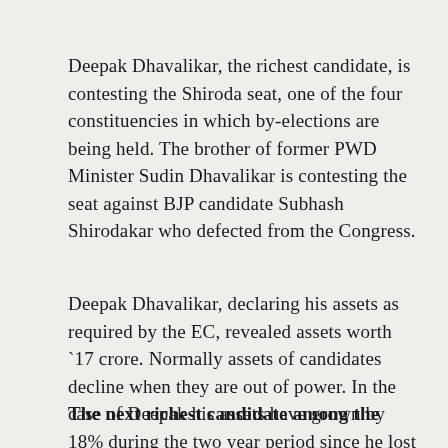Deepak Dhavalikar, the richest candidate, is contesting the Shiroda seat, one of the four constituencies in which by-elections are being held. The brother of former PWD Minister Sudin Dhavalikar is contesting the seat against BJP candidate Subhash Shirodakar who defected from the Congress.
Deepak Dhavalikar, declaring his assets as required by the EC, revealed assets worth `17 crore. Normally assets of candidates decline when they are out of power. In the case of Deepak his assets have grown by 18% during the two year period since he lost the 2017 election.
The next richest candidate among the